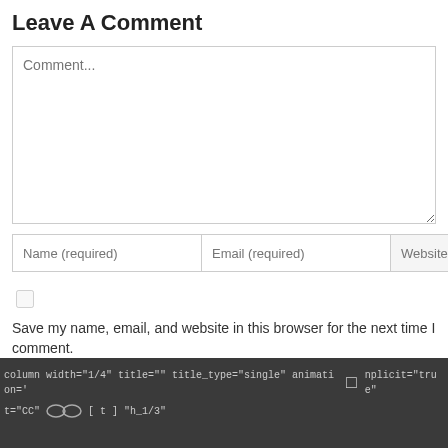Leave A Comment
[Figure (screenshot): A web comment form with a large comment textarea, Name (required), Email (required), and Website input fields, a Save my name checkbox, and a Post Comment button]
column width="1/4" title="" title_type="single" animation='□     nplicit="true"